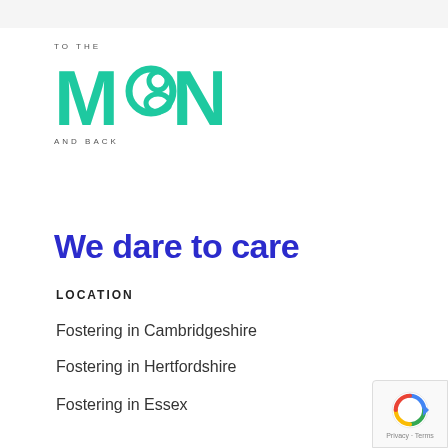[Figure (logo): To The Moon And Back fostering agency logo in teal/green with stylized moon and people shapes]
We dare to care
LOCATION
Fostering in Cambridgeshire
Fostering in Hertfordshire
Fostering in Essex